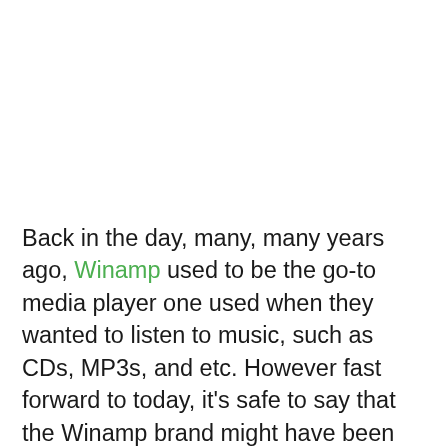Back in the day, many, many years ago, Winamp used to be the go-to media player one used when they wanted to listen to music, such as CDs, MP3s, and etc. However fast forward to today, it's safe to say that the Winamp brand might have been left by the wayside in favor of more modern media players, such as iTunes which is an all-in-one solution when it comes to syncing iOS devices, purchasing songs, games, apps, videos, and etc. In any case it looks like after 15 years, Winamp will officially be shutting down. There is no word on why Winamp is shutting down, but like we said, its popularity has fallen by the wayside and we guess all good things will eventually